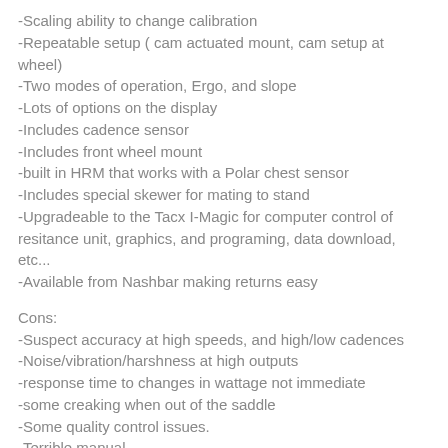-Scaling ability to change calibration
-Repeatable setup ( cam actuated mount, cam setup at wheel)
-Two modes of operation, Ergo, and slope
-Lots of options on the display
-Includes cadence sensor
-Includes front wheel mount
-built in HRM that works with a Polar chest sensor
-Includes special skewer for mating to stand
-Upgradeable to the Tacx I-Magic for computer control of resitance unit, graphics, and programing, data download, etc...
-Available from Nashbar making returns easy
Cons:
-Suspect accuracy at high speeds, and high/low cadences
-Noise/vibration/harshness at high outputs
-response time to changes in wattage not immediate
-some creaking when out of the saddle
-Some quality control issues.
-Terrible manual.